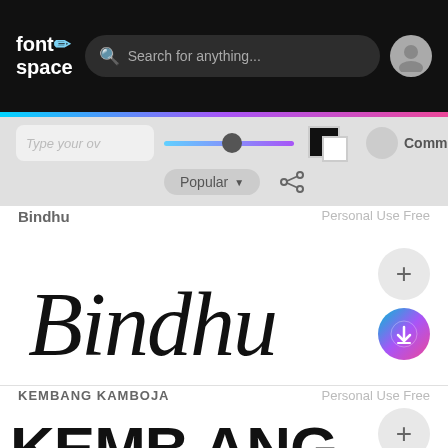fontspace — Search for anything...
[Figure (screenshot): FontSpace website interface with search bar, filter controls, and font previews for Bindhu and Kembang Kamboja]
Type your own text input field (placeholder)
Popular dropdown, Commercial-use toggle, share icon
Bindhu
Personal Use Free
[Figure (illustration): Bindhu font preview in cursive/signature style script]
KEMBANG KAMBOJA
Personal Use Free
[Figure (illustration): Kembang Kamboja font preview in bold graffiti/block style, partially visible at bottom]